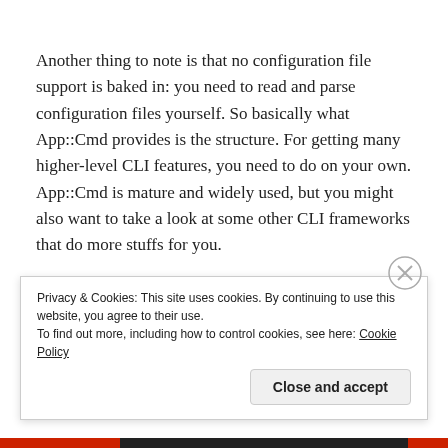Another thing to note is that no configuration file support is baked in: you need to read and parse configuration files yourself. So basically what App::Cmd provides is the structure. For getting many higher-level CLI features, you need to do on your own. App::Cmd is mature and widely used, but you might also want to take a look at some other CLI frameworks that do more stuffs for you.
Privacy & Cookies: This site uses cookies. By continuing to use this website, you agree to their use.
To find out more, including how to control cookies, see here: Cookie Policy